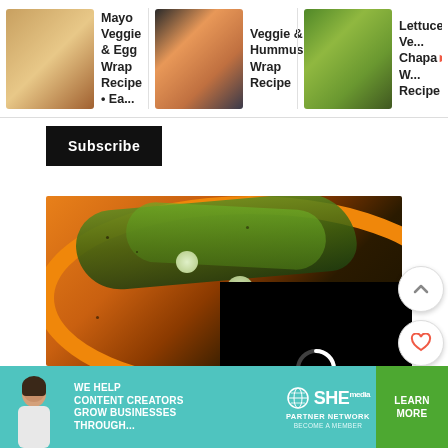[Figure (screenshot): Top navigation bar showing three related recipe video thumbnails: 'Mayo Veggie & Egg Wrap Recipe • Ea...', 'Veggie & Hummus Wrap Recipe', and 'Lettuce Ve... Chapa> W... Recipe']
Mayo Veggie & Egg Wrap Recipe • Ea...
Veggie & Hummus Wrap Recipe
Lettuce Ve... Chapa> W... Recipe
Subscribe
[Figure (photo): Overhead view of an orange bowl/plate with soup and green vegetables (lettuce, spring onions, radish slices) garnished with seeds]
[Figure (screenshot): Black video player overlay with spinning loading indicator (circle arc spinner) and red number 62 in bottom right]
[Figure (screenshot): Right-side floating action buttons: up-arrow button, heart/like button with count 62, and orange search button]
[Figure (screenshot): Ad banner: 'WE HELP CONTENT CREATORS GROW BUSINESSES THROUGH...' with SHE Partner Network logo and 'LEARN MORE / BECOME A MEMBER' green button]